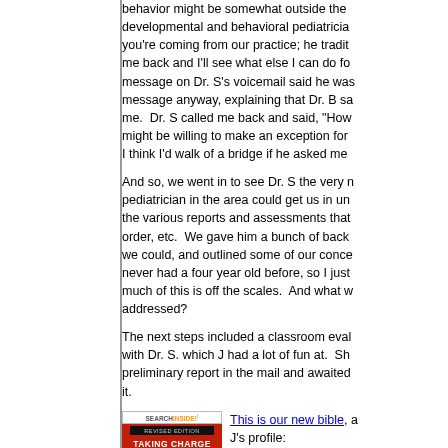behavior might be somewhat outside the developmental and behavioral pediatrician you're coming from our practice; he traditionally me back and I'll see what else I can do for message on Dr. S's voicemail said he was message anyway, explaining that Dr. B sa me. Dr. S called me back and said, "How might be willing to make an exception for I think I'd walk of a bridge if he asked me
And so, we went in to see Dr. S the very n pediatrician in the area could get us in un the various reports and assessments that order, etc. We gave him a bunch of back we could, and outlined some of our conce never had a four year old before, so I just much of this is off the scales. And what w addressed?
The next steps included a classroom eval with Dr. S. which J had a lot of fun at. Sh preliminary report in the mail and awaited it.
[Figure (photo): Book cover for 'Taking Charge of ADHD' with a 'Search Inside!' badge at top]
This is our new bible, a J's profile:
ADHD, combined type: hyperactivity, impulsivity interrupts frequently. H impairs his learning, so